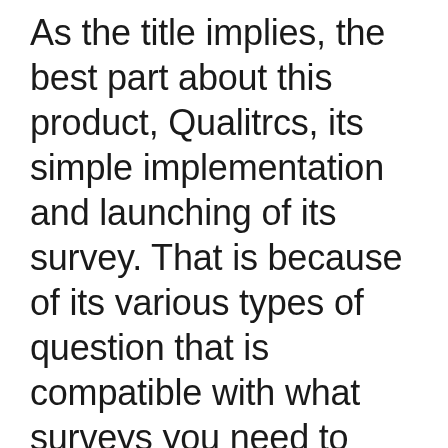As the title implies, the best part about this product, Qualitrcs, its simple implementation and launching of its survey. That is because of its various types of question that is compatible with what surveys you need to implement. It has no